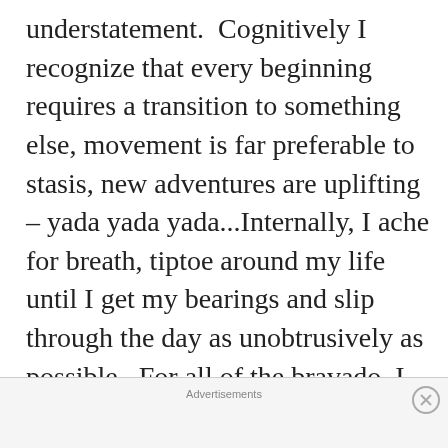understatement.  Cognitively I recognize that every beginning requires a transition to something else, movement is far preferable to stasis, new adventures are uplifting – yada yada yada...Internally, I ache for breath, tiptoe around my life until I get my bearings and slip through the day as unobtrusively as possible.  For all of the bravado, I stand before you – a wimp.
Advertisements